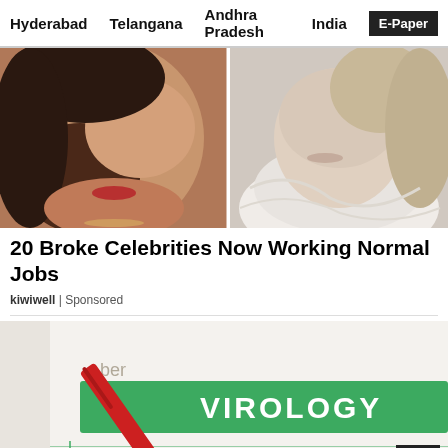Hyderabad   Telangana   Andhra Pradesh   India   E-Paper
[Figure (photo): Two cropped faces side by side: left is a woman with dark hair and red lips, right is a person wearing a white scarf]
20 Broke Celebrities Now Working Normal Jobs
kiwiwell | Sponsored
[Figure (photo): Close-up of a red pen resting on a green medical virology form showing text: VIROLOGY, HIV testing:, HIV serology, HIV viral load, Y, R, 48]